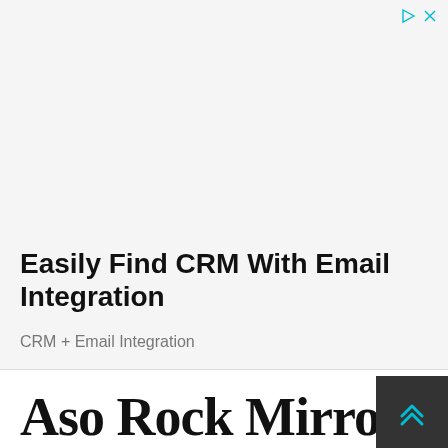[Figure (other): Advertisement banner area with light gray background and small play/close icons in top right corner]
Easily Find CRM With Email Integration
CRM + Email Integration
Aso Rock Mirror N